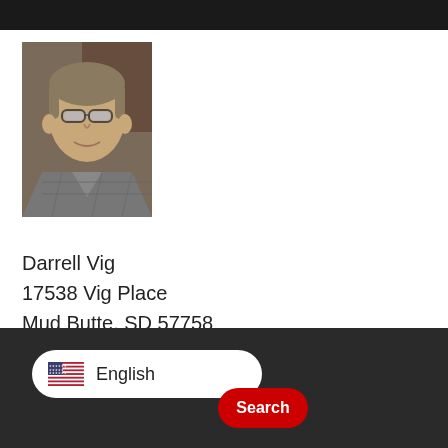[Figure (photo): Headshot photo of Darrell Vig, a middle-aged man with short hair and glasses, wearing a plaid shirt]
Darrell Vig
17538 Vig Place
Mud Butte, SD 57758
vig68@yahoo.com
(605) 748-2016 (H)
(605) 515-2007 (C)
Term expires 2023
[Figure (other): Language selector showing US flag and 'English' text in a white pill-shaped bar, and a red Search button, on a dark textured footer background]